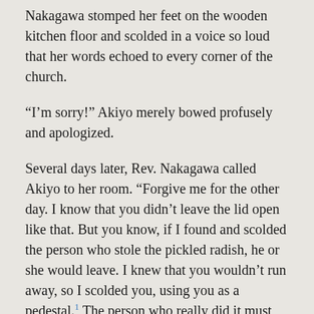Nakagawa stomped her feet on the wooden kitchen floor and scolded in a voice so loud that her words echoed to every corner of the church.
“I’m sorry!” Akiyo merely bowed profusely and apologized.
Several days later, Rev. Nakagawa called Akiyo to her room. “Forgive me for the other day. I know that you didn’t leave the lid open like that. But you know, if I found and scolded the person who stole the pickled radish, he or she would leave. I knew that you wouldn’t run away, so I scolded you, using you as a pedestal.¹ The person who really did it must have heard me somewhere. He or she must be feeling guilty, don’t you think? You are my pedestal to discipline the live-ins.”